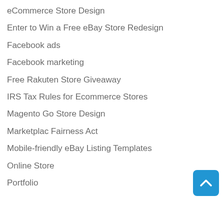eCommerce Store Design
Enter to Win a Free eBay Store Redesign
Facebook ads
Facebook marketing
Free Rakuten Store Giveaway
IRS Tax Rules for Ecommerce Stores
Magento Go Store Design
Marketplac Fairness Act
Mobile-friendly eBay Listing Templates
Online Store
Portfolio
[Figure (illustration): Blue rounded square button with white upward-pointing chevron arrow (scroll to top button)]